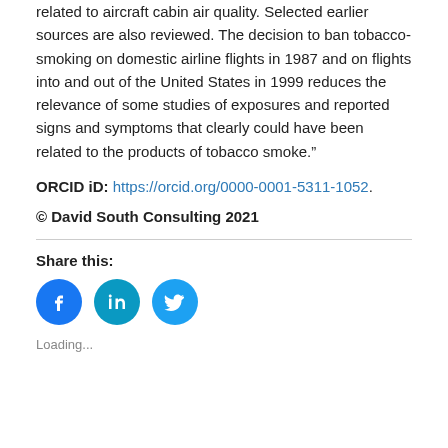related to aircraft cabin air quality. Selected earlier sources are also reviewed. The decision to ban tobacco-smoking on domestic airline flights in 1987 and on flights into and out of the United States in 1999 reduces the relevance of some studies of exposures and reported signs and symptoms that clearly could have been related to the products of tobacco smoke.”
ORCID iD: https://orcid.org/0000-0001-5311-1052.
© David South Consulting 2021
Share this:
[Figure (infographic): Social media share buttons: Facebook (blue circle), LinkedIn (teal circle), Twitter (blue circle)]
Loading...